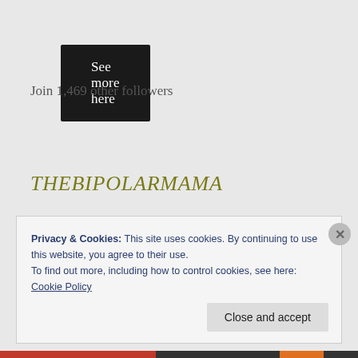See more here
Join 1,469 other followers
THEBIPOLARMAMA
Privacy & Cookies: This site uses cookies. By continuing to use this website, you agree to their use.
To find out more, including how to control cookies, see here:
Cookie Policy
Close and accept